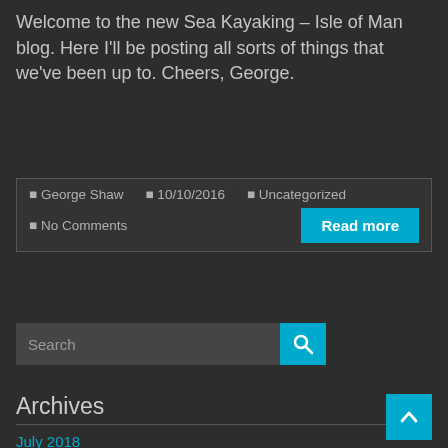Welcome to the new Sea Kayaking – Isle of Man blog. Here I'll be posting all sorts of things that we've been up to. Cheers, George.
George Shaw  10/10/2016  Uncategorized  No Comments  Read more
[Figure (screenshot): Search bar with cyan search button containing a magnifying glass icon]
Archives
July 2018
May 2017
October 2016